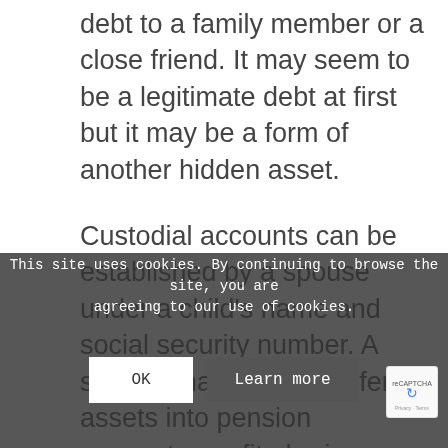debt to a family member or a close friend. It may seem to be a legitimate debt at first but it may be a form of another hidden asset.
Custodial accounts can be established by a spouse under a child's name and social security number. A spouse may even transfer assets into pension accounts, profit-sharing accounts, a trust or a 401K account in an attempt of hiding assets from the opposing spouse.
A spouse who owns a business may use the business to conceal assets by not recording cash receipts or by paying a non-existing employee. Additionally, the value of a business before the divorce can be lowered by delaying the signing of a contract for a customer after the divorce is final.
This site uses cookies. By continuing to browse the site, you are agreeing to our use of cookies.